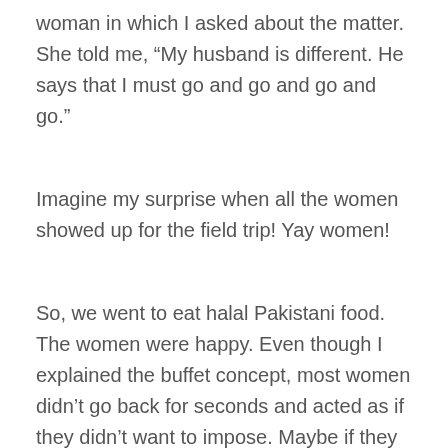woman in which I asked about the matter. She told me, “My husband is different. He says that I must go and go and go and go.”
Imagine my surprise when all the women showed up for the field trip! Yay women!
So, we went to eat halal Pakistani food. The women were happy. Even though I explained the buffet concept, most women didn’t go back for seconds and acted as if they didn’t want to impose. Maybe if they go back with their families, they won’t be so shy.